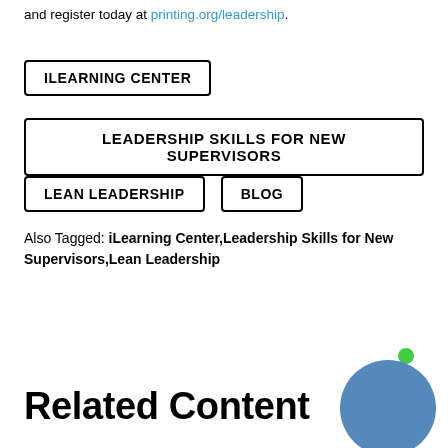and register today at printing.org/leadership.
ILEARNING CENTER
LEADERSHIP SKILLS FOR NEW SUPERVISORS
LEAN LEADERSHIP
BLOG
Also Tagged: iLearning Center,Leadership Skills for New Supervisors,Lean Leadership
Related Content
[Figure (illustration): A blue circle with a small green dot in the upper right area, overlapping in the bottom-right corner of the page.]